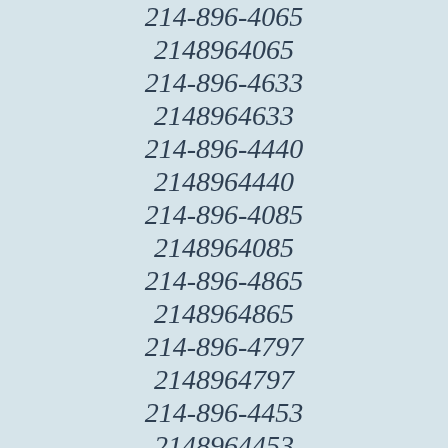214-896-4065
2148964065
214-896-4633
2148964633
214-896-4440
2148964440
214-896-4085
2148964085
214-896-4865
2148964865
214-896-4797
2148964797
214-896-4453
2148964453
214-896-4982